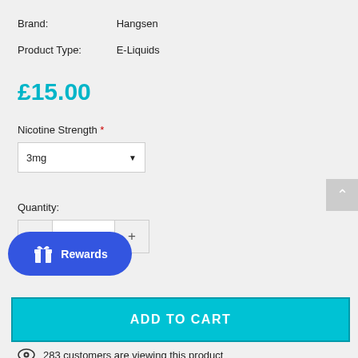Brand: Hangsen
Product Type: E-Liquids
£15.00
Nicotine Strength *
3mg
Quantity:
- 1 +
[Figure (other): Rewards button with gift icon]
ADD TO CART
283 customers are viewing this product